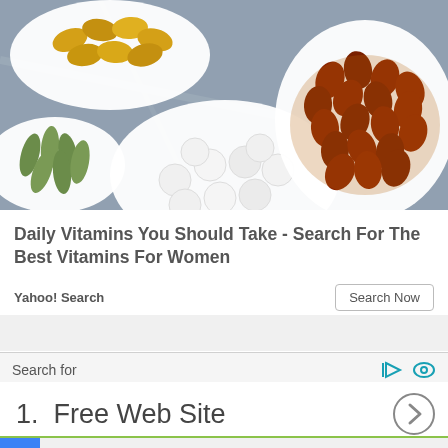[Figure (photo): Photo showing various vitamin supplements and pills in white ceramic dishes on a marble surface. Includes yellow gel capsules, green capsules, white round tablets, and dark red/brown softgels.]
Daily Vitamins You Should Take - Search For The Best Vitamins For Women
Yahoo! Search
Search Now
Search for
1.  Free Web Site